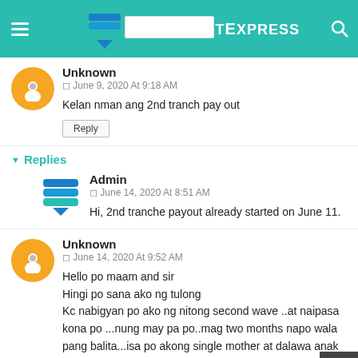TheSummitExpress
Unknown
© June 9, 2020 At 9:18 AM
Kelan nman ang 2nd tranch pay out
Reply
Replies
Admin
© June 14, 2020 At 8:51 AM
Hi, 2nd tranche payout already started on June 11.
Unknown
© June 14, 2020 At 9:52 AM
Hello po maam and sir
Hingi po sana ako ng tulong
Kc nabigyan po ako ng nitong second wave ..at naipasa kona po ...nung may pa po..mag two months napo wala pang balita...isa po akong single mother at dalawa anak ko
Katiwala po ako sa isang bahay..sumasahod ako